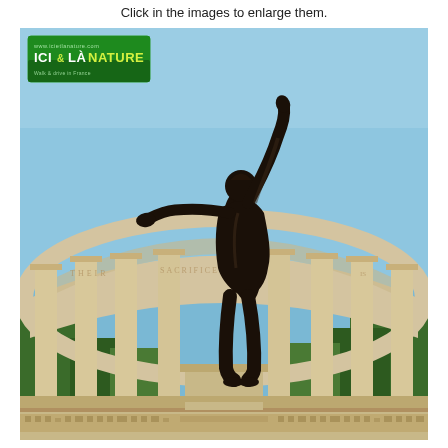Click in the images to enlarge them.
[Figure (photo): Bronze statue of a male figure with one arm raised high and one outstretched, standing on a pedestal in front of a curved colonnade with stone columns, at what appears to be the Normandy American Cemetery memorial. A green watermark logo reading 'ICI & LÀ NATURE' is overlaid in the upper left corner of the image. Trees and blue sky are visible in the background.]